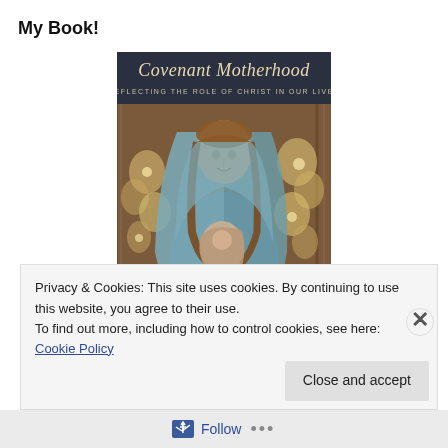My Book!
[Figure (illustration): Book cover for 'Covenant Motherhood: Reflecting the Role of Christ in Our Lives' showing a painting of a woman in a blue veil holding an infant, with floral background]
Privacy & Cookies: This site uses cookies. By continuing to use this website, you agree to their use.
To find out more, including how to control cookies, see here: Cookie Policy
Close and accept
Follow